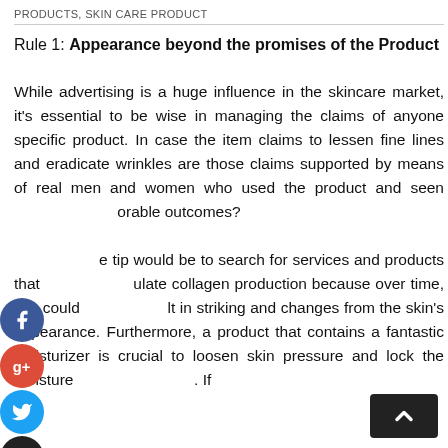PRODUCTS, SKIN CARE PRODUCT
Rule 1: Appearance beyond the promises of the Product
While advertising is a huge influence in the skincare market, it's essential to be wise in managing the claims of anyone specific product. In case the item claims to lessen fine lines and eradicate wrinkles are those claims supported by means of real men and women who used the product and seen favorable outcomes?

One tip would be to search for services and products that stimulate collagen production because over time, this could result in striking and changes from the skin's appearance. Furthermore, a product that contains a fantastic moisturizer is crucial to loosen skin pressure and lock the moisture. If you are looking for the best anti-aging skin care products, then the